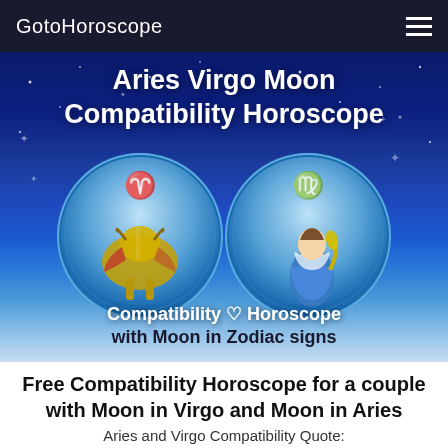GotoHoroscope
Aries Virgo Moon Compatibility Horoscope
[Figure (illustration): Two zodiac circular emblems side by side: left circle shows Aries symbol with a ram illustration, right circle shows Virgo symbol with a maiden illustration, both on blue zodiac wheel backgrounds. Below them text reads 'Compatibility ♡ Horoscope with Moon in Zodiac signs']
Free Compatibility Horoscope for a couple with Moon in Virgo and Moon in Aries
Aries and Virgo Compatibility Quote: